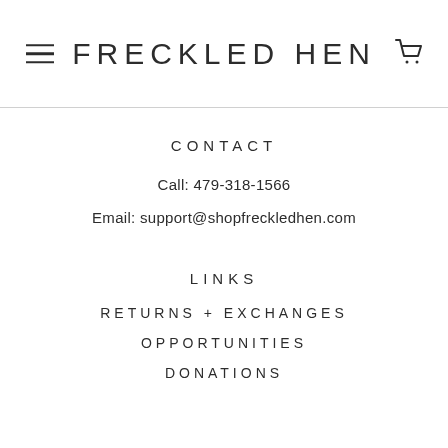FRECKLED HEN
CONTACT
Call: 479-318-1566
Email: support@shopfreckledhen.com
LINKS
RETURNS + EXCHANGES
OPPORTUNITIES
DONATIONS